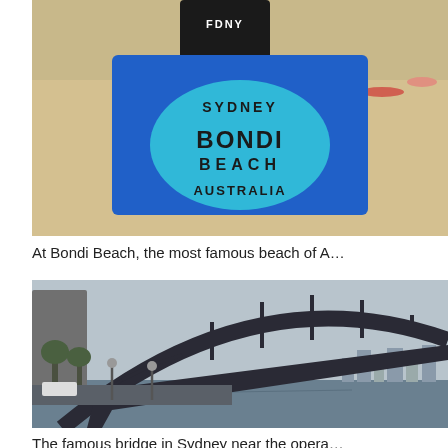[Figure (photo): Person at Bondi Beach holding a blue Sydney Bondi Beach Australia souvenir towel/flag, sandy beach with people sunbathing in background]
At Bondi Beach, the most famous beach of A…
[Figure (photo): Sydney Harbour Bridge photographed from ground level, showing the steel arch structure against a cloudy sky, with city skyline and waterfront visible in background]
The famous bridge in Sydney near the opera…